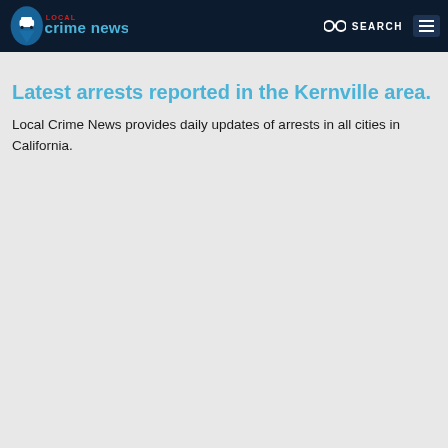Local Crime News — SEARCH
Latest arrests reported in the Kernville area.
Local Crime News provides daily updates of arrests in all cities in California.